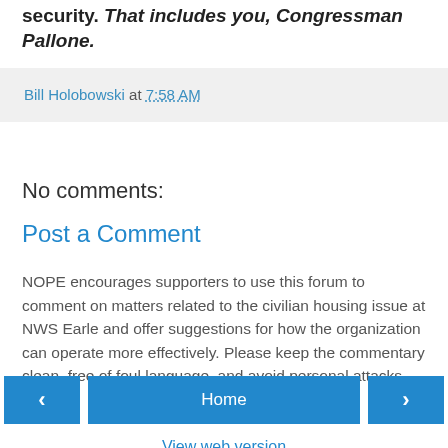security. That includes you, Congressman Pallone.
Bill Holobowski at 7:58 AM
No comments:
Post a Comment
NOPE encourages supporters to use this forum to comment on matters related to the civilian housing issue at NWS Earle and offer suggestions for how the organization can operate more effectively. Please keep the commentary clean, free of foul language, and avoid personal attacks.
Home
View web version